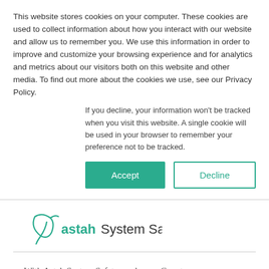This website stores cookies on your computer. These cookies are used to collect information about how you interact with our website and allow us to remember you. We use this information in order to improve and customize your browsing experience and for analytics and metrics about our visitors both on this website and other media. To find out more about the cookies we use, see our Privacy Policy.
If you decline, your information won't be tracked when you visit this website. A single cookie will be used in your browser to remember your preference not to be tracked.
[Figure (other): Two buttons: Accept (teal filled) and Decline (teal outlined)]
[Figure (logo): Astah System Safety logo with teal leaf/person icon and text 'astah System Safety']
With Astah System Safety, we have a Countermeasure